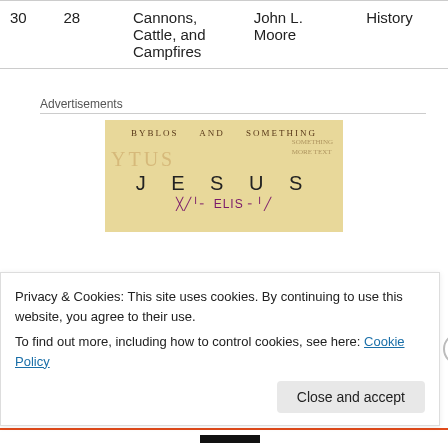| 30 | 28 | Cannons, Cattle, and Campfires | John L. Moore | History |
Advertisements
[Figure (other): Advertisement image showing aged parchment background with text 'BYBLOS', 'YTUS', 'JESUS' and decorative elements in sepia and purple tones]
Privacy & Cookies: This site uses cookies. By continuing to use this website, you agree to their use.
To find out more, including how to control cookies, see here: Cookie Policy
Close and accept